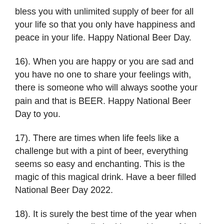bless you with unlimited supply of beer for all your life so that you only have happiness and peace in your life. Happy National Beer Day.
16). When you are happy or you are sad and you have no one to share your feelings with, there is someone who will always soothe your pain and that is BEER. Happy National Beer Day to you.
17). There are times when life feels like a challenge but with a pint of beer, everything seems so easy and enchanting. This is the magic of this magical drink. Have a beer filled National Beer Day 2022.
18). It is surely the best time of the year when you get to enjoy unlimited beer with your friends. Let us all celebrate the happy times by indulging in beer. Happy National Beer Day to you.